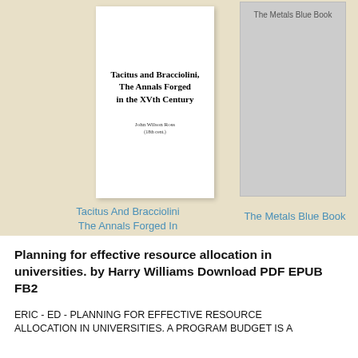[Figure (illustration): Book cover: Tacitus and Bracciolini, The Annals Forged in the XVth Century by John Wilson Ross]
[Figure (illustration): Book cover placeholder: The Metals Blue Book (grey placeholder cover)]
Tacitus And Bracciolini The Annals Forged In The Xvth Century
The Metals Blue Book
Planning for effective resource allocation in universities. by Harry Williams Download PDF EPUB FB2
ERIC - ED - PLANNING FOR EFFECTIVE RESOURCE ALLOCATION IN UNIVERSITIES. A PROGRAM BUDGET IS A